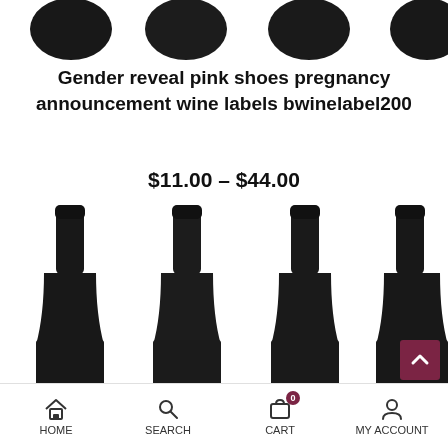[Figure (photo): Tops of four dark wine bottles partially visible at the top of the screen, showing black capsule tops]
Gender reveal pink shoes pregnancy announcement wine labels bwinelabel200
$11.00 – $44.00
[Figure (photo): Four dark wine bottles with small pink labels at the bottom, arranged in a row]
HOME | SEARCH | CART (0) | MY ACCOUNT